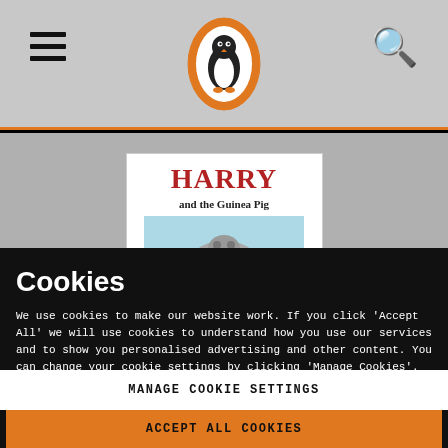[Figure (screenshot): Penguin Books website navigation bar with hamburger menu icon on left, Penguin logo (orange oval with penguin) in center, and search icon on right, on a grey background with orange bottom border]
[Figure (photo): Partial book cover for 'HARRY and the Guinea Pig' with red bold title text on white background, partially visible in a grey area]
Cookies
We use cookies to make our website work. If you click 'Accept All' we will use cookies to understand how you use our services and to show you personalised advertising and other content. You can change your cookie settings by clicking 'Manage Cookies'. For more information please see our cookie policy
MANAGE COOKIE SETTINGS
ACCEPT ALL COOKIES